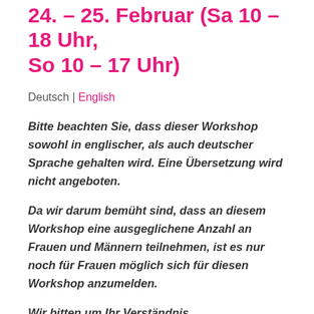24. – 25. Februar (Sa 10 – 18 Uhr, So 10 – 17 Uhr)
Deutsch | English
Bitte beachten Sie, dass dieser Workshop sowohl in englischer, als auch deutscher Sprache gehalten wird. Eine Übersetzung wird nicht angeboten.
Da wir darum bemüht sind, dass an diesem Workshop eine ausgeglichene Anzahl an Frauen und Männern teilnehmen, ist es nur noch für Frauen möglich sich für diesen Workshop anzumelden.
Wir bitten um Ihr Verständnis.
In der Auffassung des Yoga bedeutet 'Brahmacharya'